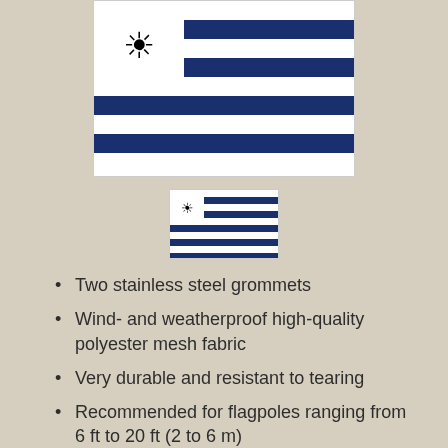[Figure (photo): Large Uruguay flag image showing blue and white horizontal stripes with sun emblem in white canton]
[Figure (photo): Small Uruguay flag icon showing blue and white horizontal stripes with sun emblem]
Two stainless steel grommets
Wind- and weatherproof high-quality polyester mesh fabric
Very durable and resistant to tearing
Recommended for flagpoles ranging from 6 ft to 20 ft (2 to 6 m)
27,95 €